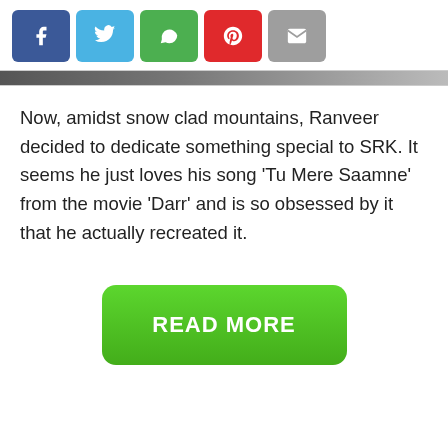[Figure (screenshot): Social media share buttons: Facebook (blue), Twitter (light blue), WhatsApp (green), Pinterest (red), Email (grey)]
[Figure (photo): Partial image strip visible at top, dark blurred background]
Now, amidst snow clad mountains, Ranveer decided to dedicate something special to SRK. It seems he just loves his song ‘Tu Mere Saamne’ from the movie ‘Darr’ and is so obsessed by it that he actually recreated it.
[Figure (other): Green READ MORE button]